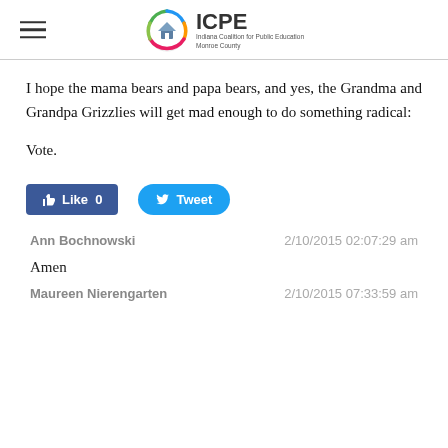ICPE — Indiana Coalition for Public Education Monroe County
I hope the mama bears and papa bears, and yes, the Grandma and Grandpa Grizzlies will get mad enough to do something radical:
Vote.
[Figure (screenshot): Facebook Like button showing 0 likes and Twitter Tweet button]
Ann Bochnowski    2/10/2015 02:07:29 am
Amen
Maureen Nierengarten    2/10/2015 07:33:59 am